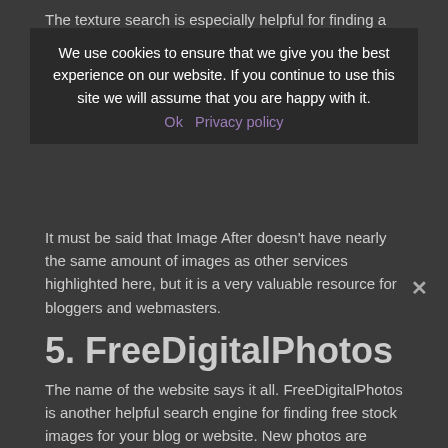The texture search is especially helpful for finding a background image for a blog or website without having to create your own.
We use cookies to ensure that we give you the best experience on our website. If you continue to use this site we will assume that you are happy with it.
It must be said that Image After doesn't have nearly the same amount of images as other services highlighted here, but it is a very valuable resource for bloggers and webmasters.
5. FreeDigitalPhotos
The name of the website says it all. FreeDigitalPhotos is another helpful search engine for finding free stock images for your blog or website. New photos are added daily and the added benefit of searching for illustrations alongside photos.